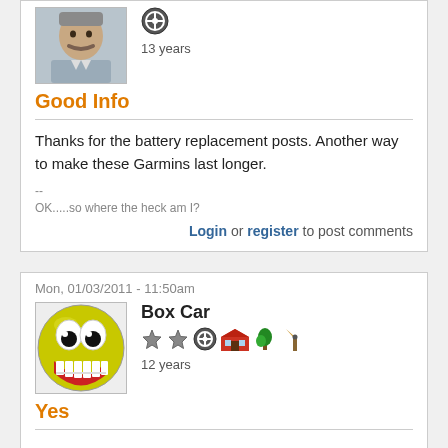[Figure (photo): User avatar showing an older man with mustache, gray jacket]
13 years
Good Info
Thanks for the battery replacement posts. Another way to make these Garmins last longer.
--
OK.....so where the heck am I?
Login or register to post comments
Mon, 01/03/2011 - 11:50am
[Figure (photo): User avatar showing a cartoon grinning smiley face]
Box Car
12 years
Yes